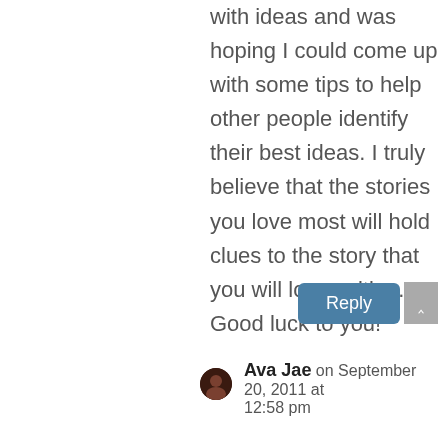with ideas and was hoping I could come up with some tips to help other people identify their best ideas. I truly believe that the stories you love most will hold clues to the story that you will love writing. Good luck to you!
Ava Jae on September 20, 2011 at 12:58 pm